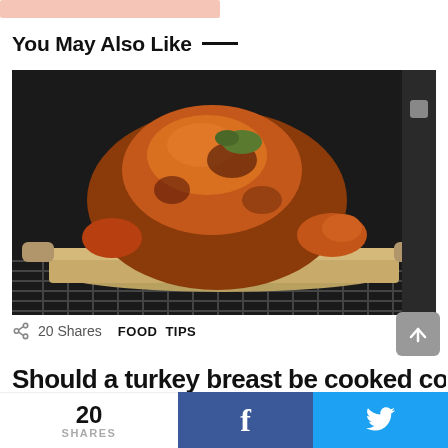You May Also Like —
[Figure (photo): A roasted turkey in a silver roasting pan inside an oven on a metal rack, dark background]
20 Shares  FOOD  TIPS
Should a turkey breast be cooked covered or...
20 SHARES  f  (Twitter bird icon)